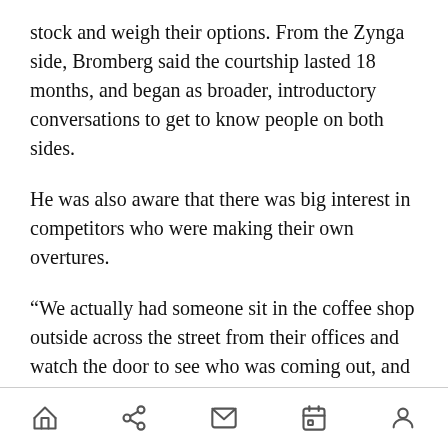stock and weigh their options. From the Zynga side, Bromberg said the courtship lasted 18 months, and began as broader, introductory conversations to get to know people on both sides.
He was also aware that there was big interest in competitors who were making their own overtures.
“We actually had someone sit in the coffee shop outside across the street from their offices and watch the door to see who was coming out, and figure out who else was coming in,” Bromberg said.
In pursuing such a deal, Bromberg said players often get up in winning and closing a transaction,
[navigation icons: home, share, mail, calendar, profile]